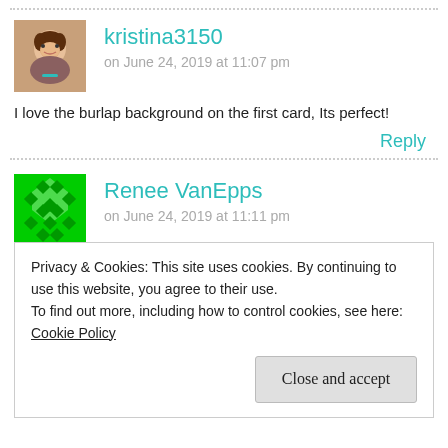kristina3150
on June 24, 2019 at 11:07 pm
I love the burlap background on the first card, Its perfect!
Reply
Renee VanEpps
on June 24, 2019 at 11:11 pm
Privacy & Cookies: This site uses cookies. By continuing to use this website, you agree to their use.
To find out more, including how to control cookies, see here: Cookie Policy
Close and accept